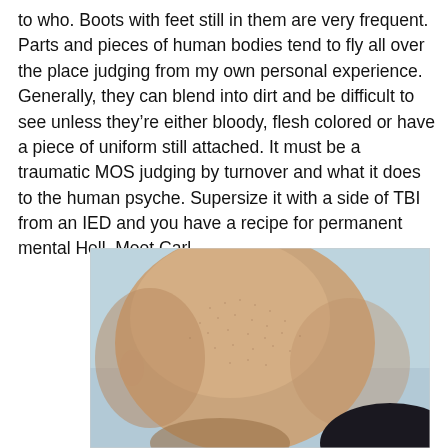to who. Boots with feet still in them are very frequent. Parts and pieces of human bodies tend to fly all over the place judging from my own personal experience. Generally, they can blend into dirt and be difficult to see unless they're either bloody, flesh colored or have a piece of uniform still attached. It must be a traumatic MOS judging by turnover and what it does to the human psyche. Supersize it with a side of TBI from an IED and you have a recipe for permanent mental Hell. Meet Carl.
[Figure (photo): Close-up photo of the top and back of a person's shaved head, viewed from a slightly elevated angle. The person appears to be looking down. There is a light blue/grey background and a dark clothing visible at the bottom right.]